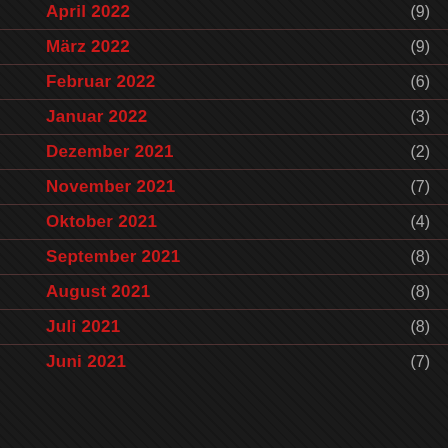April 2022 (9)
März 2022 (9)
Februar 2022 (6)
Januar 2022 (3)
Dezember 2021 (2)
November 2021 (7)
Oktober 2021 (4)
September 2021 (8)
August 2021 (8)
Juli 2021 (8)
Juni 2021 (7)